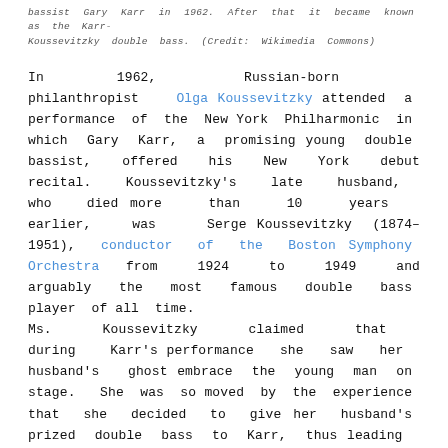bassist Gary Karr in 1962. After that it became known as the Karr-Koussevitzky double bass. (Credit: Wikimedia Commons)
In 1962, Russian-born philanthropist Olga Koussevitzky attended a performance of the New York Philharmonic in which Gary Karr, a promising young double bassist, offered his New York debut recital. Koussevitzky's late husband, who died more than 10 years earlier, was Serge Koussevitzky (1874–1951), conductor of the Boston Symphony Orchestra from 1924 to 1949 and arguably the most famous double bass player of all time.
Ms. Koussevitzky claimed that during Karr's performance she saw her husband's ghost embrace the young man on stage. She was so moved by the experience that she decided to give her husband's prized double bass to Karr, thus leading to the Karr-Koussevitzky name for the